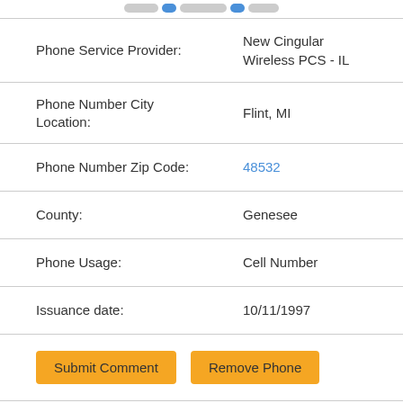| Field | Value |
| --- | --- |
| Phone Service Provider: | New Cingular Wireless PCS - IL |
| Phone Number City Location: | Flint, MI |
| Phone Number Zip Code: | 48532 |
| County: | Genesee |
| Phone Usage: | Cell Number |
| Issuance date: | 10/11/1997 |
Submit Comment | Remove Phone